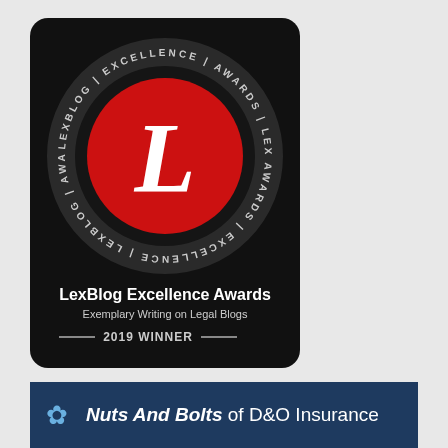[Figure (logo): LexBlog Excellence Awards badge — black rounded rectangle with dark olive branch background, circular text 'LEXBLOG | EXCELLENCE | AWARDS' around a large red circle containing a white italic L. Below: 'LexBlog Excellence Awards', 'Exemplary Writing on Legal Blogs', '2019 WINNER' with decorative rules.]
[Figure (logo): Dark navy blue banner with gear/asterisk icon and italic text 'Nuts And Bolts of D&O Insurance']